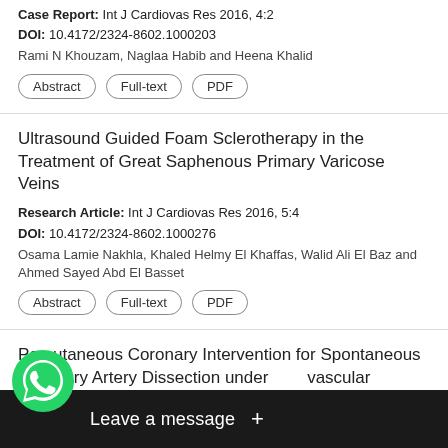Case Report: Int J Cardiovas Res 2016, 4:2
DOI: 10.4172/2324-8602.1000203
Rami N Khouzam, Naglaa Habib and Heena Khalid
Abstract | Full-text | PDF
Ultrasound Guided Foam Sclerotherapy in the Treatment of Great Saphenous Primary Varicose Veins
Research Article: Int J Cardiovas Res 2016, 5:4
DOI: 10.4172/2324-8602.1000276
Osama Lamie Nakhla, Khaled Helmy El Khaffas, Walid Ali El Baz and Ahmed Sayed Abd El Basset
Abstract | Full-text | PDF
Percutaneous Coronary Intervention for Spontaneous Coronary Artery Dissection under Intravascular Ultrasound Guidance
Research Article: Int J Cardiovas Res 2016, 5:2
Mich...